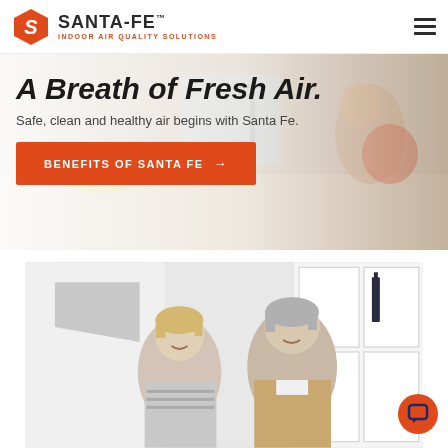[Figure (logo): Santa-Fe Indoor Air Quality Solutions logo with orange hexagon S icon]
[Figure (photo): Hero banner with family in kitchen background, semi-transparent overlay]
A Breath of Fresh Air.
Safe, clean and healthy air begins with Santa Fe.
BENEFITS OF SANTA FE →
[Figure (photo): Middle-aged couple smiling at each other in a bright kitchen setting]